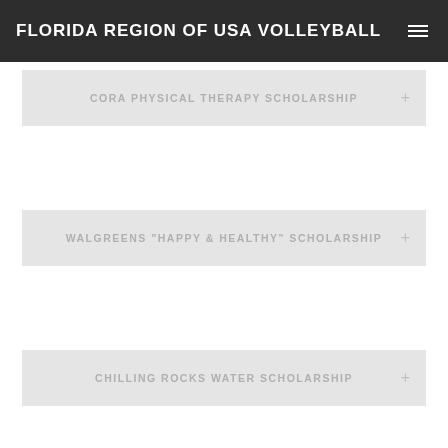FLORIDA REGION OF USA VOLLEYBALL
CORA PHYSICAL THERAPY SCHOLARSHIP
WALGREENS "HAPPY & HEALTHY" SCHOLARSHIP
CHILLING ROCKS WATER SCHOLARSHIP
AES SCHOLARSHIP
ROX VOLLEYBALL SCHOLARSHIP